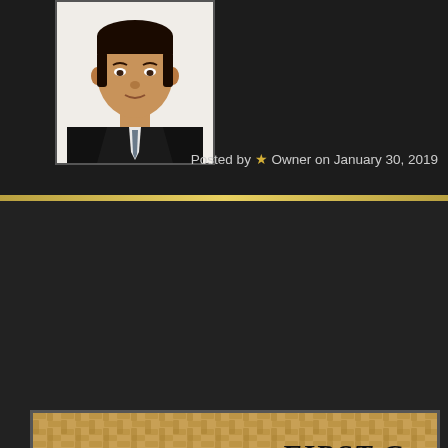[Figure (photo): Profile headshot of a man in a black suit and tie against a white background]
Posted by ★ Owner on January 30, 2019
[Figure (illustration): Banner image with woven basket texture background showing an anvil with hammer and tools, a red heart with cross, and partial text reading 'FIRST C... STORE... YOU DES... あなたは...' in gothic/blackletter style]